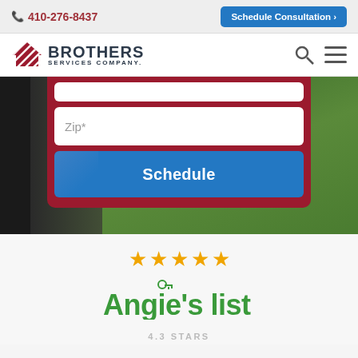410-276-8437 | Schedule Consultation >
[Figure (logo): Brothers Services Company logo with diagonal striped house icon and company name]
Zip*
Schedule
[Figure (photo): Outdoor background image with dark left side and green bushes on right]
[Figure (logo): Angie's list logo in green with star rating icons above]
4.3 STARS